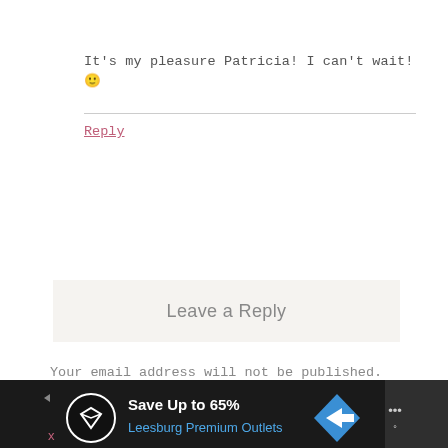It's my pleasure Patricia! I can't wait! 🙂
Reply
Leave a Reply
Your email address will not be published. Required fields are marked *
[Figure (infographic): Advertisement banner at bottom: dark background with circular icon, 'Save Up to 65%' text, 'Leesburg Premium Outlets' in blue, blue diamond navigation icon, and Waze logo on right]